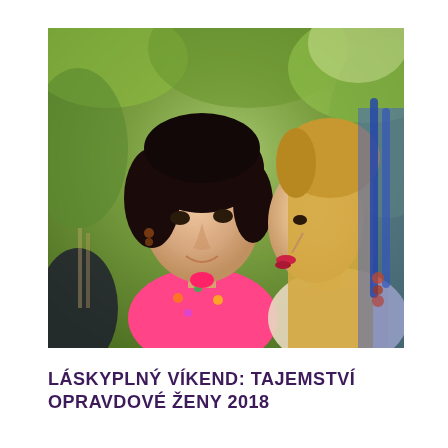[Figure (photo): Two women outdoors in sunlight. The woman on the left has dark short hair and is wearing a bright pink floral dress. The woman on the right has long blonde hair and is facing left in profile. Green leafy background.]
LÁSKYPLNÝ VÍKEND: TAJEMSTVÍ OPRAVDOVÉ ŽENY 2018